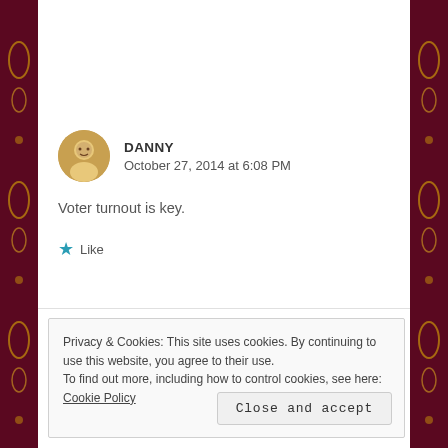DANNY
October 27, 2014 at 6:08 PM

Voter turnout is key.

★ Like
Privacy & Cookies: This site uses cookies. By continuing to use this website, you agree to their use.
To find out more, including how to control cookies, see here: Cookie Policy

Close and accept